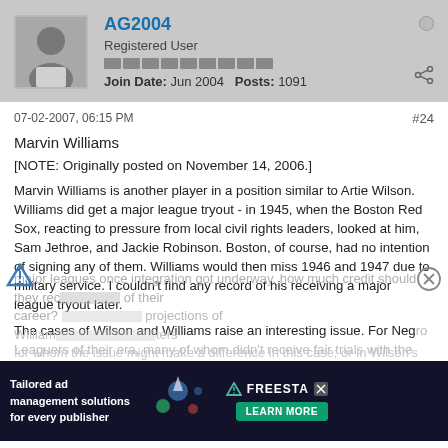AG2004 | Registered User | Join Date: Jun 2004 | Posts: 1091
07-02-2007, 06:15 PM
#24
Marvin Williams
[NOTE: Originally posted on November 14, 2006.]
Marvin Williams is another player in a position similar to Artie Wilson. Williams did get a major league tryout - in 1945, when the Boston Red Sox, reacting to pressure from local civil rights leaders, looked at him, Sam Jethroe, and Jackie Robinson. Boston, of course, had no intention of signing any of them. Williams would then miss 1946 and 1947 due to military service. I couldn't find any record of his receiving a major league tryout later.
The cases of Wilson and Williams raise an interesting issue. For Negro Leaguers of their era, many of whom didn't receive fair trials with the major leagues once integration got underway, how much credit should they receive for the Negro League portion of their careers? I wouldn't give them full credit for their projections of Williams and similar players, but I would consider them voters for whom the issue might make a difference in this case; or in Wilson's